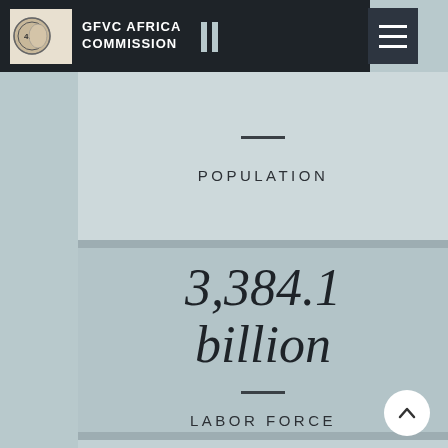GFVC AFRICA COMMISSION
POPULATION
3,384.1 billion
LABOR FORCE
6.57%